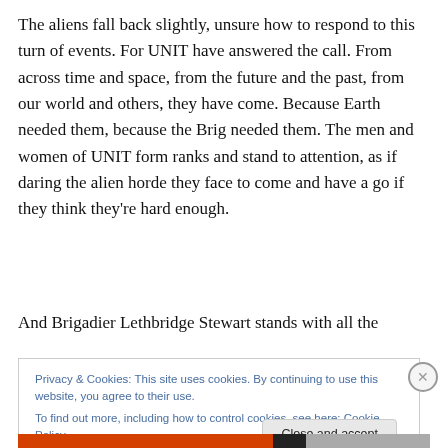The aliens fall back slightly, unsure how to respond to this turn of events. For UNIT have answered the call. From across time and space, from the future and the past, from our world and others, they have come. Because Earth needed them, because the Brig needed them. The men and women of UNIT form ranks and stand to attention, as if daring the alien horde they face to come and have a go if they think they're hard enough.
And Brigadier Lethbridge Stewart stands with all the
Privacy & Cookies: This site uses cookies. By continuing to use this website, you agree to their use.
To find out more, including how to control cookies, see here: Cookie Policy
Close and accept